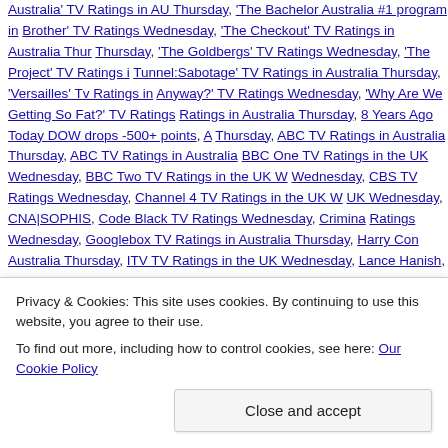Australia' TV Ratings in AU Thursday, 'The Bachelor Australia #1 program in Big Brother' TV Ratings Wednesday, 'The Checkout' TV Ratings in Australia Thursday, 'The Goldbergs' TV Ratings Wednesday, 'The Project' TV Ratings in Tunnel:Sabotage' TV Ratings in Australia Thursday, 'Versailles' Tv Ratings in Anyway?' TV Ratings Wednesday, 'Why Are We Getting So Fat?' TV Ratings in Australia Thursday, 8 Years Ago Today DOW drops -500+ points, Thursday, ABC TV Ratings in Australia Thursday, ABC TV Ratings in Australia, BBC One TV Ratings in the UK Wednesday, BBC Two TV Ratings in the UK Wednesday, CBS TV Ratings Wednesday, Channel 4 TV Ratings in the UK W UK Wednesday, CNA|SOPHIS, Code Black TV Ratings Wednesday, Criminal Ratings Wednesday, Googlebox TV Ratings in Australia Thursday, Harry Con Australia Thursday, ITV TV Ratings in the UK Wednesday, Lance Hanish, Mo #1 Wednesday 091416, NBC TV Ratings Wednesday, Nine #1 in Australia W Thursday, Nine TV Ratings in Australia Wednesday, Nobody Reads The New Australia Thursday, SBS TV Ratings in Australia Thursday, SBS TV Ratings in 'Sister Cities' television premiere Saturday @ 8P (ET), Seven TV Ratings in A Australia Wednesday, TEL #1 Hispanic Network Wednesday 091416, TEL TV Australia Thursday, Ten TV Ratings in Australia Wednesday, The CW TV Rati
Privacy & Cookies: This site uses cookies. By continuing to use this website, you agree to their use.
To find out more, including how to control cookies, see here: Our Cookie Policy
Close and accept
Follow